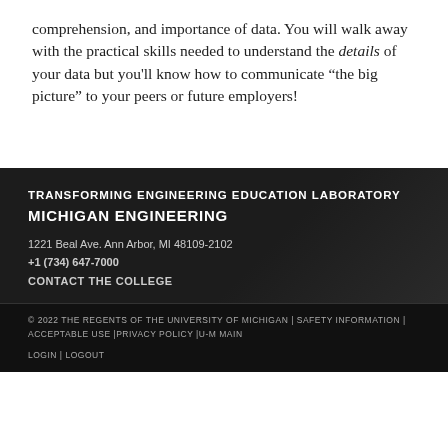comprehension, and importance of data. You will walk away with the practical skills needed to understand the details of your data but you'll know how to communicate “the big picture” to your peers or future employers!
TRANSFORMING ENGINEERING EDUCATION LABORATORY
MICHIGAN ENGINEERING
1221 Beal Ave. Ann Arbor, MI 48109-2102
+1 (734) 647-7000
CONTACT THE COLLEGE
© 2022 THE REGENTS OF THE UNIVERSITY OF MICHIGAN | SAFETY INFORMATION | ACCEPTABLE USE |PRIVACY POLICY |U-M MAIN

LOGIN | LOGOUT